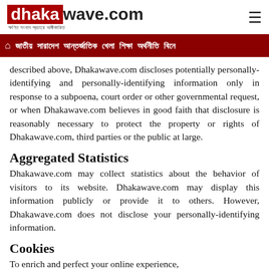dhakawave.com
জাতীয় সারাদেশ আন্তর্জাতিক খেলা শিক্ষা অর্থনীতি বিনো
described above, Dhakawave.com discloses potentially personally-identifying and personally-identifying information only in response to a subpoena, court order or other governmental request, or when Dhakawave.com believes in good faith that disclosure is reasonably necessary to protect the property or rights of Dhakawave.com, third parties or the public at large.
Aggregated Statistics
Dhakawave.com may collect statistics about the behavior of visitors to its website. Dhakawave.com may display this information publicly or provide it to others. However, Dhakawave.com does not disclose your personally-identifying information.
Cookies
To enrich and perfect your online experience,